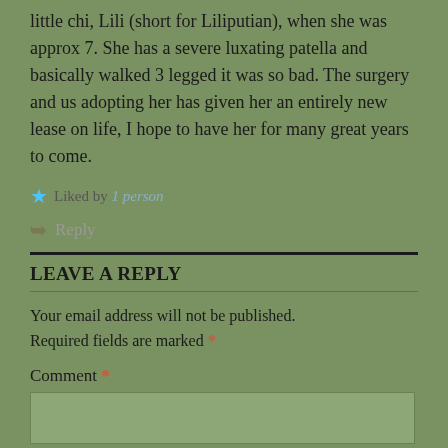little chi, Lili (short for Liliputian), when she was approx 7. She has a severe luxating patella and basically walked 3 legged it was so bad. The surgery and us adopting her has given her an entirely new lease on life, I hope to have her for many great years to come.
Liked by 1 person
Reply
LEAVE A REPLY
Your email address will not be published. Required fields are marked *
Comment *